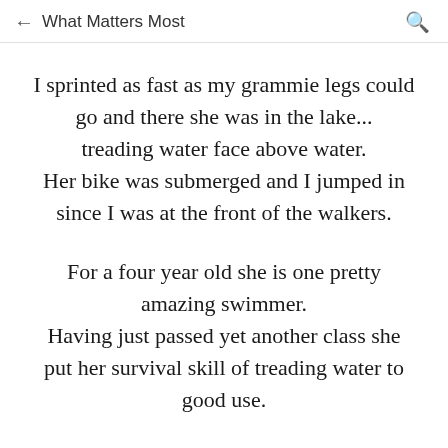← What Matters Most 🔍
I sprinted as fast as my grammie legs could go and there she was in the lake... treading water face above water. Her bike was submerged and I jumped in since I was at the front of the walkers.
For a four year old she is one pretty amazing swimmer. Having just passed yet another class she put her survival skill of treading water to good use.
I was never so happy to be soaking wet in my